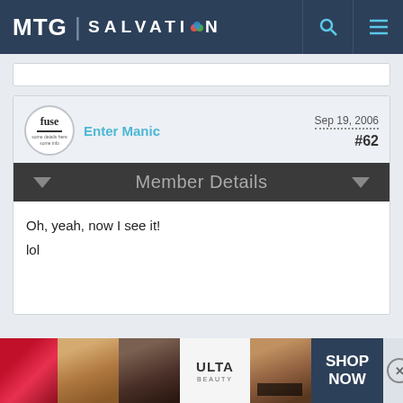MTG SALVATION
Enter Manic  Sep 19, 2006  #62
Member Details
Oh, yeah, now I see it!
lol
[Figure (screenshot): Advertisement banner for ULTA Beauty showing makeup images with SHOP NOW call to action]